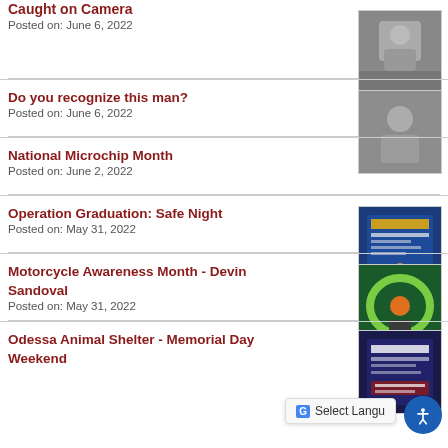Caught on Camera
Posted on: June 6, 2022
[Figure (photo): Thumbnail photo of person - Caught on Camera story]
Do you recognize this man?
Posted on: June 6, 2022
[Figure (photo): Thumbnail photo of man in white shirt]
National Microchip Month
Posted on: June 2, 2022
Operation Graduation: Safe Night
Posted on: May 31, 2022
[Figure (photo): Thumbnail of Operation Graduation event poster]
Motorcycle Awareness Month - Devin Sandoval
Posted on: May 31, 2022
[Figure (photo): Thumbnail of motorcycle awareness image]
Odessa Animal Shelter - Memorial Day Weekend
[Figure (photo): Thumbnail of Odessa Animal Shelter closed sign]